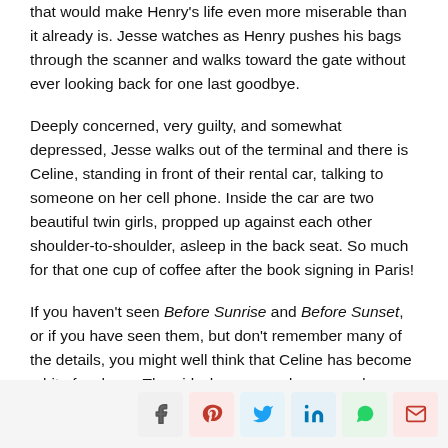that would make Henry's life even more miserable than it already is. Jesse watches as Henry pushes his bags through the scanner and walks toward the gate without ever looking back for one last goodbye.
Deeply concerned, very guilty, and somewhat depressed, Jesse walks out of the terminal and there is Celine, standing in front of their rental car, talking to someone on her cell phone. Inside the car are two beautiful twin girls, propped up against each other shoulder-to-shoulder, asleep in the back seat. So much for that one cup of coffee after the book signing in Paris!
If you haven't seen Before Sunrise and Before Sunset, or if you have seen them, but don't remember many of the details, you might well think that Celine has become a bit of a shrew. The girl who was so dreamy and romantic is now a
Social share buttons: Facebook, Pinterest, Twitter, LinkedIn, WhatsApp, Email